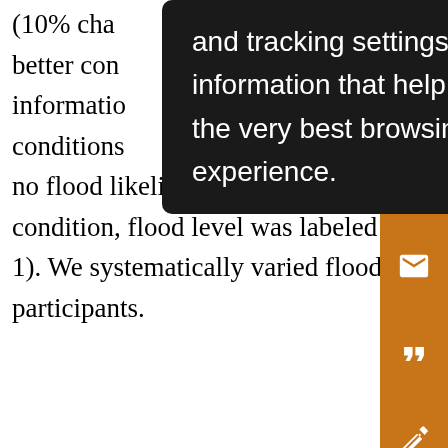(10% cha... it better con... information... conditions... whi no flood likelihood was conveyed. In the control condition, flood level was labeled alphabetically (see F 1). We systematically varied flood recency for all participants.
[Figure (screenshot): Browser tooltip/popup overlay with dark background showing text: 'and tracking settings to store information that help give you the very best browsing experience.']
[Figure (other): Orange sidebar with icons: save (floppy disk), email (envelope), cite (quotation marks), annotate (pen with strikethrough), share (share icon)]
visu use exp pre like